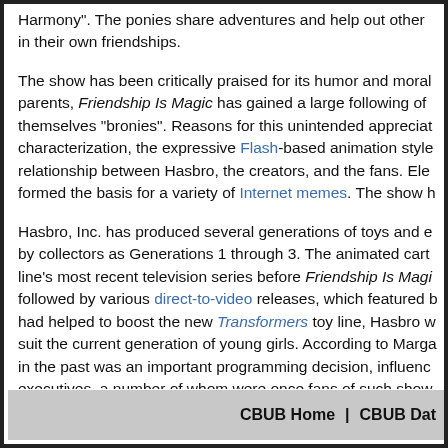Harmony". The ponies share adventures and help out other in their own friendships.
The show has been critically praised for its humor and moral parents, Friendship Is Magic has gained a large following of themselves "bronies". Reasons for this unintended appreciat characterization, the expressive Flash-based animation style relationship between Hasbro, the creators, and the fans. Ele formed the basis for a variety of Internet memes. The show h
Hasbro, Inc. has produced several generations of toys and e by collectors as Generations 1 through 3. The animated cart line's most recent television series before Friendship Is Magi followed by various direct-to-video releases, which featured b had helped to boost the new Transformers toy line, Hasbro w suit the current generation of young girls. According to Marga in the past was an important programming decision, influenc executives, a number of whom were once fans of such show "intended to have the show appeal to a larger [demographic] central theme of the Hub's programming.
CBUB Home | CBUB Dat